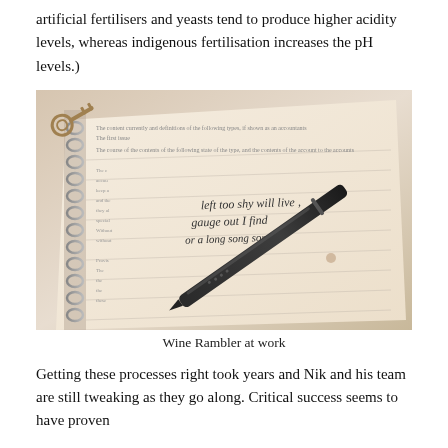artificial fertilisers and yeasts tend to produce higher acidity levels, whereas indigenous fertilisation increases the pH levels.)
[Figure (photo): A close-up photo of a spiral notebook with handwritten notes and a pen resting on the open page. A key is visible in the upper left corner.]
Wine Rambler at work
Getting these processes right took years and Nik and his team are still tweaking as they go along. Critical success seems to have proven